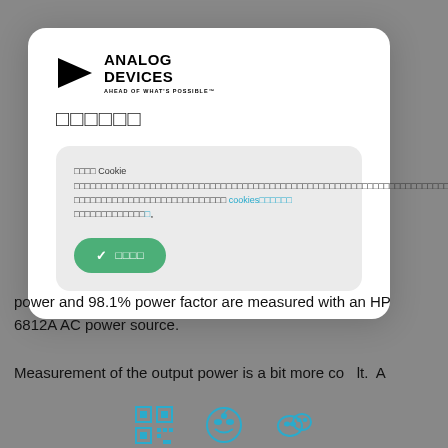[Figure (logo): Analog Devices logo with triangle and text 'ANALOG DEVICES AHEAD OF WHAT'S POSSIBLE']
□□□□□□
□□□□ Cookie □□□□□□□□□□□□□□□□□□□□□□□□□□□□□□□□□□□□□□□□□□□□□□□□□□□□□□□□□□□□□□□□□□□□□□□□□□□□ cookies□□□□□□ □□□□□□□□□□□□□
□□□□ (accept button)
power and 98.1% power factor are measured with an HP 6812A AC power source.
Measurement of the output power is a bit more co   lt.  A
[Figure (other): Footer icons: QR code, Weibo icon, WeChat icon]